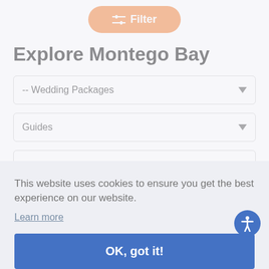[Figure (screenshot): Orange filter button with sliders icon at the top center of the page]
Explore Montego Bay
[Figure (screenshot): Dropdown selector showing '-- Wedding Packages']
[Figure (screenshot): Dropdown selector showing 'Guides']
[Figure (screenshot): Partially visible dropdown labeled 'Cal']
[Figure (screenshot): Partially visible dropdown labeled 'Re']
This website uses cookies to ensure you get the best experience on our website.
Learn more
OK, got it!
Support | About | FAQ | NVB Your Company Privacy | Terms of use | Cookies | Accessibility